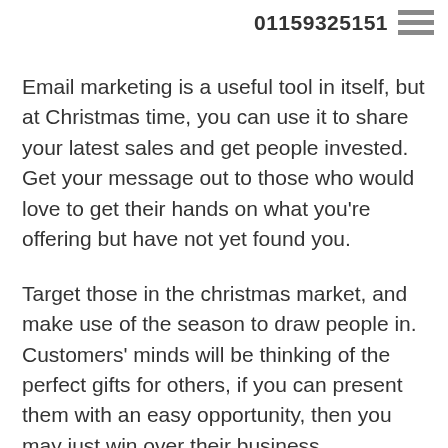01159325151
Email marketing is a useful tool in itself, but at Christmas time, you can use it to share your latest sales and get people invested. Get your message out to those who would love to get their hands on what you're offering but have not yet found you.
Target those in the christmas market, and make use of the season to draw people in. Customers' minds will be thinking of the perfect gifts for others, if you can present them with an easy opportunity, then you may just win over their business.
Not only that, but email marketing is easy and automatic, you just have to tweak the target. Most of the work is done for you, and with the right the...